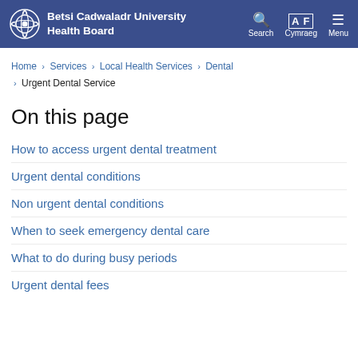Betsi Cadwaladr University Health Board
Home › Services › Local Health Services › Dental › Urgent Dental Service
On this page
How to access urgent dental treatment
Urgent dental conditions
Non urgent dental conditions
When to seek emergency dental care
What to do during busy periods
Urgent dental fees